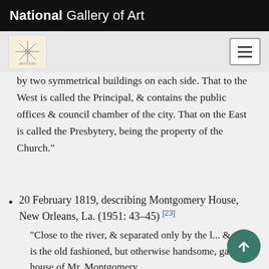National Gallery of Art
[Figure (logo): Art gallery logo/icon with star/compass design on cream background]
by two symmetrical buildings on each side. That to the West is called the Principal, & contains the public offices & council chamber of the city. That on the East is called the Presbytery, being the property of the Church."
20 February 1819, describing Montgomery House, New Orleans, La. (1951: 43–45) [23]
"Close to the river, & separated only by the l... & road, is the old fashioned, but otherwise handsome, garden & house of Mr. Montgomery.